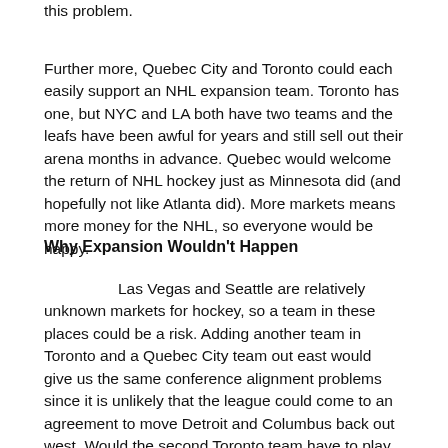this problem.
Further more, Quebec City and Toronto could each easily support an NHL expansion team. Toronto has one, but NYC and LA both have two teams and the leafs have been awful for years and still sell out their arena months in advance. Quebec would welcome the return of NHL hockey just as Minnesota did (and hopefully not like Atlanta did). More markets means more money for the NHL, so everyone would be happy.
Why Expansion Wouldn't Happen
Las Vegas and Seattle are relatively unknown markets for hockey, so a team in these places could be a risk. Adding another team in Toronto and a Quebec City team out east would give us the same conference alignment problems since it is unlikely that the league could come to an agreement to move Detroit and Columbus back out west. Would the second Toronto team have to play in the WC, leading to more time-zone and travel issues, or would the Eastern